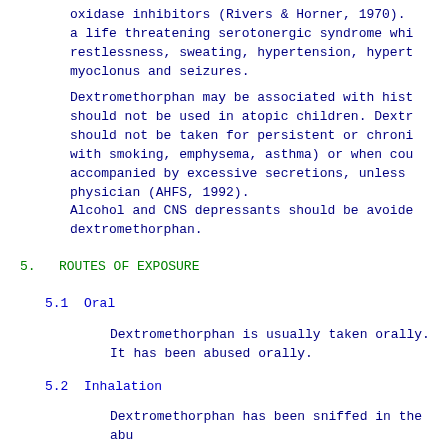oxidase inhibitors (Rivers & Horner, 1970). a life threatening serotonergic syndrome whi restlessness, sweating, hypertension, hypert myoclonus and seizures.
Dextromethorphan may be associated with hist should not be used in atopic children. Dextr should not be taken for persistent or chroni with smoking, emphysema, asthma) or when cou accompanied by excessive secretions, unless physician (AHFS, 1992). Alcohol and CNS depressants should be avoide dextromethorphan.
5.   ROUTES OF EXPOSURE
5.1  Oral
Dextromethorphan is usually taken orally. It has been abused orally.
5.2  Inhalation
Dextromethorphan has been sniffed in the abu
5.3  Dermal
No data available
5.4  Eye